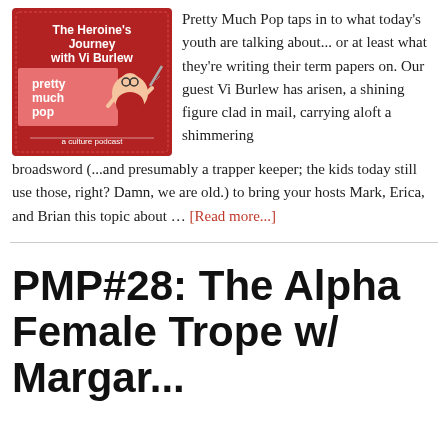[Figure (illustration): Podcast cover art for 'Pretty Much Pop: a culture podcast' featuring 'The Heroine's Journey with Vi Burlew'. Red background with cartoon illustration of a small figure with glasses. Bold white text for title.]
Pretty Much Pop taps in to what today's youth are talking about... or at least what they're writing their term papers on. Our guest Vi Burlew has arisen, a shining figure clad in mail, carrying aloft a shimmering broadsword (...and presumably a trapper keeper; the kids today still use those, right? Damn, we are old.) to bring your hosts Mark, Erica, and Brian this topic about … [Read more...]
PMP#28: The Alpha Female Trope w/ Margaret Olin...